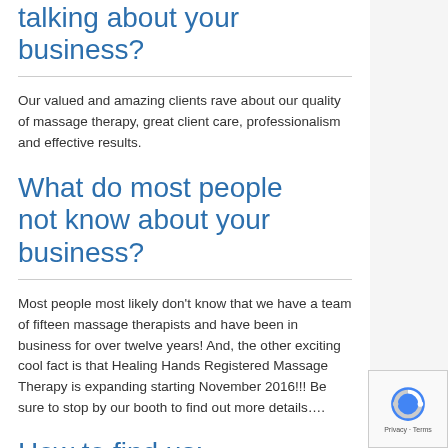talking about your business?
Our valued and amazing clients rave about our quality of massage therapy, great client care, professionalism and effective results.
What do most people not know about your business?
Most people most likely don't know that we have a team of fifteen massage therapists and have been in business for over twelve years!  And, the other exciting cool fact is that Healing Hands Registered Massage Therapy is expanding starting November 2016!!!  Be sure to stop by our booth to find out more details….
How to find us: